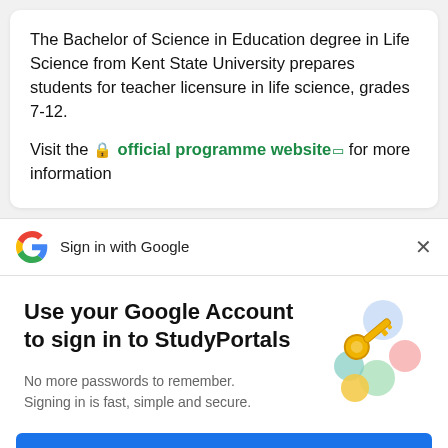The Bachelor of Science in Education degree in Life Science from Kent State University prepares students for teacher licensure in life science, grades 7-12.
Visit the 🔒 official programme website ↗ for more information
Sign in with Google
Use your Google Account to sign in to StudyPortals
No more passwords to remember. Signing in is fast, simple and secure.
Continue